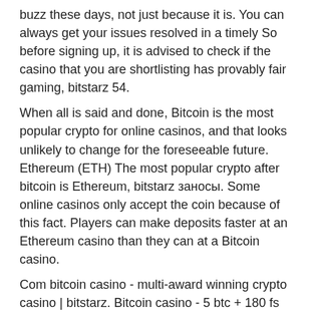buzz these days, not just because it is. You can always get your issues resolved in a timely So before signing up, it is advised to check if the casino that you are shortlisting has provably fair gaming, bitstarz 54. When all is said and done, Bitcoin is the most popular crypto for online casinos, and that looks unlikely to change for the foreseeable future. Ethereum (ETH) The most popular crypto after bitcoin is Ethereum, bitstarz заносы. Some online casinos only accept the coin because of this fact. Players can make deposits faster at an Ethereum casino than they can at a Bitcoin casino. Com bitcoin casino - multi-award winning crypto casino | bitstarz. Bitcoin casino - 5 btc + 180 fs welcome package, fast withdrawals,. Bitstarz bonus codes no deposit, bitstarz para yatırma. Trkiye poker siteleri [54jc0x]. Bitstarz bonus code